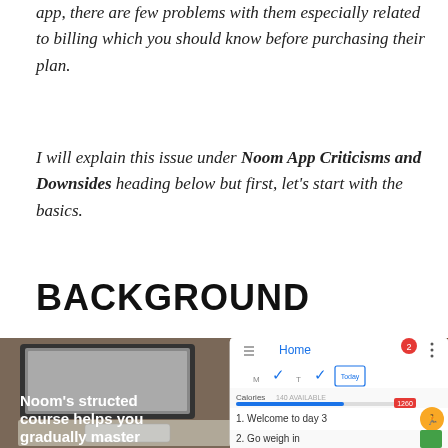app, there are few problems with them especially related to billing which you should know before purchasing their plan.
I will explain this issue under Noom App Criticisms and Downsides heading below but first, let’s start with the basics.
BACKGROUND
[Figure (photo): Photo of a laptop on a wooden table next to a smartphone displaying the Noom app Home screen showing checkmarks, a calories bar (140 available), and list items including 'Welcome to day 3' and 'Go weigh in'. Overlaid white text reads: Noom’s structed course helps you gradually master healthy habits]